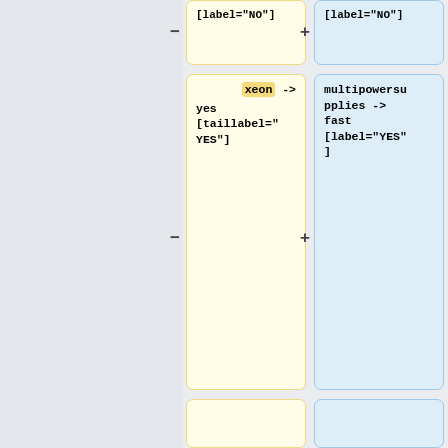[Figure (screenshot): Diff/comparison UI showing code graph diff cards with yellow (left) and blue (right) panels containing graph edge labels. Cards show: [label='NO'] partial, xeon->yes[taillabel='YES'] vs multipowersupplies->fast[label='YES'], empty vs empty, proctype->yes[taillabel='YES'] vs fast->yes[label='YES'], proctype->naw[taillabel='NO'] vs fast->no[taillabel='NO']]